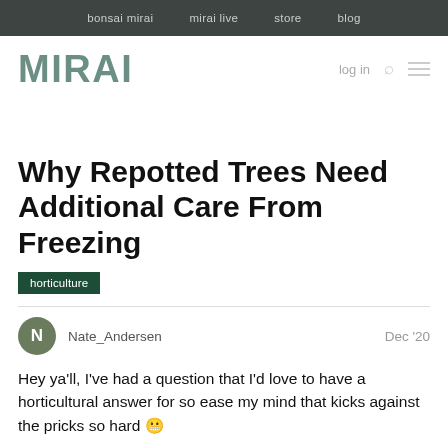bonsai mirai   mirai live   store   blog
MIRAI
Why Repotted Trees Need Additional Care From Freezing
horticulture
Nate_Andersen   Dec '20
Hey ya'll, I've had a question that I'd love to have a horticultural answer for so ease my mind that kicks against the pricks so hard 😬